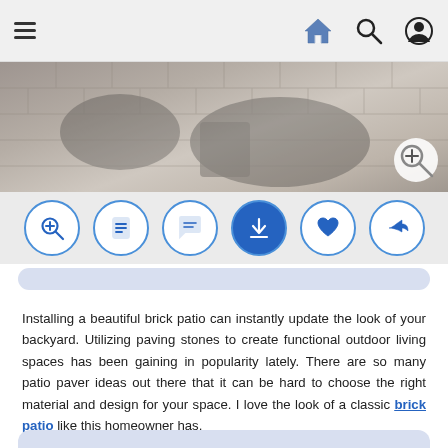Navigation bar with hamburger menu, home icon, search icon, user icon
[Figure (screenshot): Hero image showing a brick patio with dark wicker furniture on stone pavers, with a zoom/magnify overlay icon in the bottom right]
[Figure (infographic): Row of six circular action buttons: zoom-in, document/article, comment, download, heart/like, share]
Installing a beautiful brick patio can instantly update the look of your backyard. Utilizing paving stones to create functional outdoor living spaces has been gaining in popularity lately. There are so many patio paver ideas out there that it can be hard to choose the right material and design for your space. I love the look of a classic brick patio like this homeowner has.